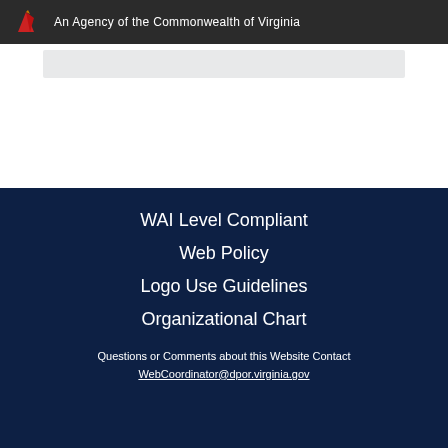An Agency of the Commonwealth of Virginia
WAI Level Compliant
Web Policy
Logo Use Guidelines
Organizational Chart
Questions or Comments about this Website Contact WebCoordinator@dpor.virginia.gov